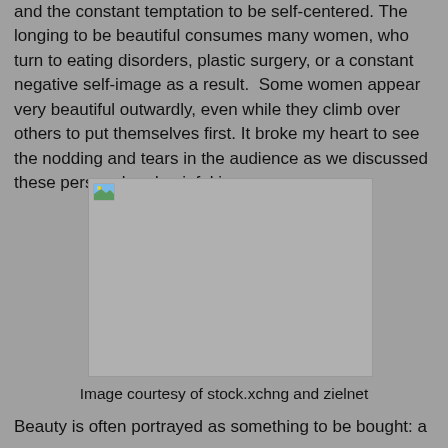and the constant temptation to be self-centered. The longing to be beautiful consumes many women, who turn to eating disorders, plastic surgery, or a constant negative self-image as a result.  Some women appear very beautiful outwardly, even while they climb over others to put themselves first. It broke my heart to see the nodding and tears in the audience as we discussed these personal and painful issues.
[Figure (photo): A placeholder image box with a broken image icon in the top-left corner, displayed on a gray background.]
Image courtesy of stock.xchng and zielnet
Beauty is often portrayed as something to be bought: a